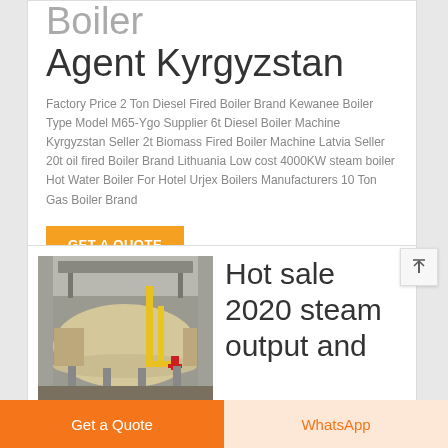Boiler Agent Kyrgyzstan
Factory Price 2 Ton Diesel Fired Boiler Brand Kewanee Boiler Type Model M65-Ygo Supplier 6t Diesel Boiler Machine Kyrgyzstan Seller 2t Biomass Fired Boiler Machine Latvia Seller 20t oil fired Boiler Brand Lithuania Low cost 4000KW steam boiler Hot Water Boiler For Hotel Urjex Boilers Manufacturers 10 Ton Gas Boiler Brand
GET A QUOTE
[Figure (photo): Industrial steam boiler in a factory setting, large horizontal cylindrical vessel with yellow pipes, red fittings, on a concrete floor inside a building.]
Hot sale 2020 steam output and
Get a Quote
WhatsApp